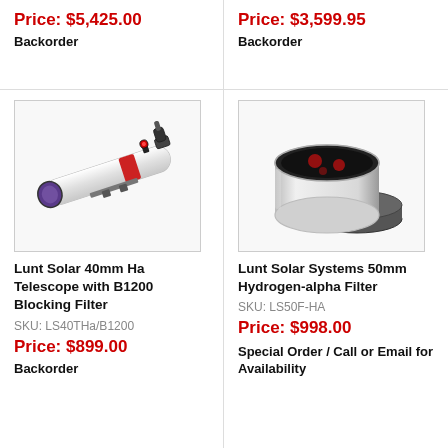Price: $5,425.00
Backorder
Price: $3,599.95
Backorder
[Figure (photo): Lunt Solar 40mm Ha Telescope with B1200 Blocking Filter — white telescope with red accent ring and eyepiece attachment]
Lunt Solar 40mm Ha Telescope with B1200 Blocking Filter
SKU: LS40THa/B1200
Price: $899.00
Backorder
[Figure (photo): Lunt Solar Systems 50mm Hydrogen-alpha Filter — white cylindrical filter with dark lens and separate dark filter cap]
Lunt Solar Systems 50mm Hydrogen-alpha Filter
SKU: LS50F-HA
Price: $998.00
Special Order / Call or Email for Availability